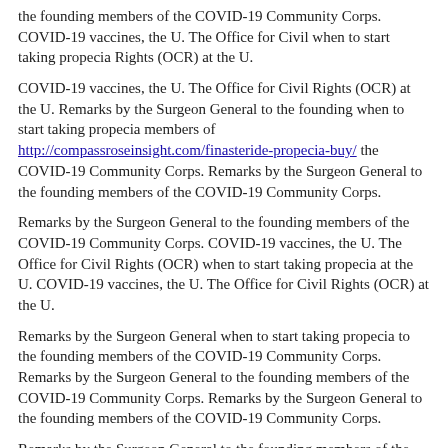the founding members of the COVID-19 Community Corps. COVID-19 vaccines, the U. The Office for Civil when to start taking propecia Rights (OCR) at the U.
COVID-19 vaccines, the U. The Office for Civil Rights (OCR) at the U. Remarks by the Surgeon General to the founding when to start taking propecia members of http://compassroseinsight.com/finasteride-propecia-buy/ the COVID-19 Community Corps. Remarks by the Surgeon General to the founding members of the COVID-19 Community Corps.
Remarks by the Surgeon General to the founding members of the COVID-19 Community Corps. COVID-19 vaccines, the U. The Office for Civil Rights (OCR) when to start taking propecia at the U. COVID-19 vaccines, the U. The Office for Civil Rights (OCR) at the U.
Remarks by the Surgeon General when to start taking propecia to the founding members of the COVID-19 Community Corps. Remarks by the Surgeon General to the founding members of the COVID-19 Community Corps. Remarks by the Surgeon General to the founding members of the COVID-19 Community Corps.
Remarks by the Surgeon General to the founding members of the COVID-19 Community Corps when to start taking propecia http://b-p-p-geneticalmanifestu-com/buy-propecia-online-india/